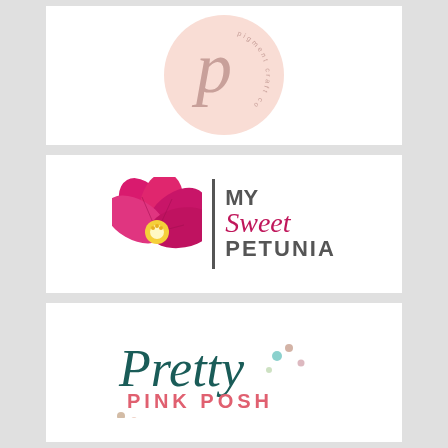[Figure (logo): Pigment Craft Co. circular logo with a large italic P in a pink circle with small text 'pigment craft co' around the bottom]
[Figure (logo): My Sweet Petunia logo with a pink petunia flower on the left, a vertical divider line, and text 'MY Sweet PETUNIA' on the right in bold and italic lettering]
[Figure (logo): Pretty Pink Posh logo with 'Pretty' in dark teal script, 'PINK POSH' in pink bold text below, with decorative dots/circles]